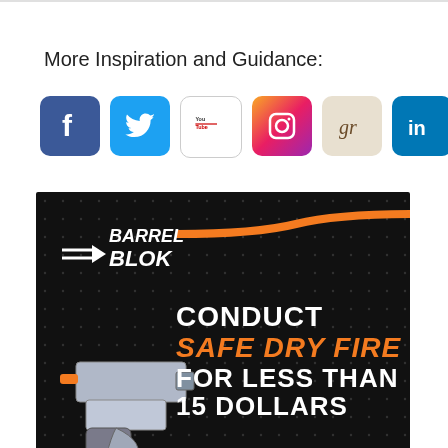More Inspiration and Guidance:
[Figure (infographic): Row of 8 social media icon buttons: Facebook (blue), Twitter (blue), YouTube (white/red), Instagram (gradient), Goodreads (beige), LinkedIn (blue), Pinterest (red), Quora (red)]
[Figure (infographic): Barrel Blok advertisement on black background. Shows a silver handgun with an orange barrel insert. Text reads: BARREL BLOK / CONDUCT SAFE DRY FIRE FOR LESS THAN 15 DOLLARS / SHOP NOW >]